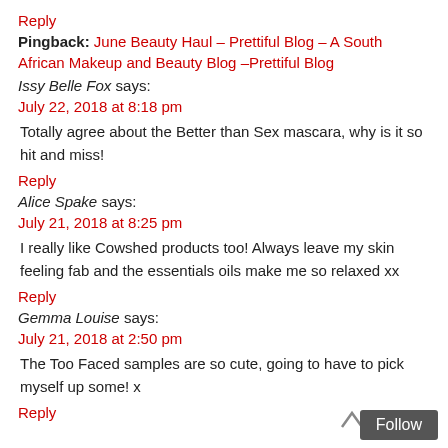Reply
Pingback: June Beauty Haul – Prettiful Blog – A South African Makeup and Beauty Blog –Prettiful Blog
Issy Belle Fox says:
July 22, 2018 at 8:18 pm
Totally agree about the Better than Sex mascara, why is it so hit and miss!
Reply
Alice Spake says:
July 21, 2018 at 8:25 pm
I really like Cowshed products too! Always leave my skin feeling fab and the essentials oils make me so relaxed xx
Reply
Gemma Louise says:
July 21, 2018 at 2:50 pm
The Too Faced samples are so cute, going to have to pick myself up some! x
Reply